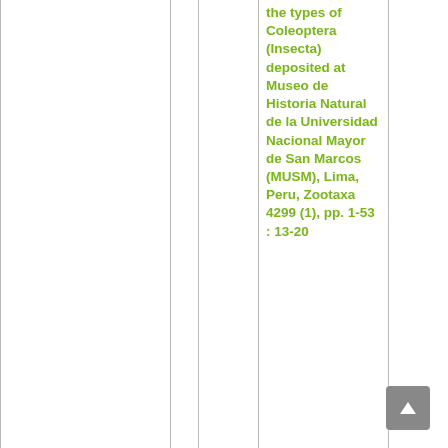|  |  |  | the types of Coleoptera (Insecta) deposited at Museo de Historia Natural de la Universidad Nacional Mayor de San Marcos (MUSM), Lima, Peru, Zootaxa 4299 (1), pp. 1-53 : 13-20 |  |
| Charinus longitarsus |  |  | Miranda, Gustavo Silva de, Giupponi, Alessandro P. L., Prendini, Lorenzo & Scharff, Nikolaj, 2021, Systematic revision of the pantropical whip | 80-81 |